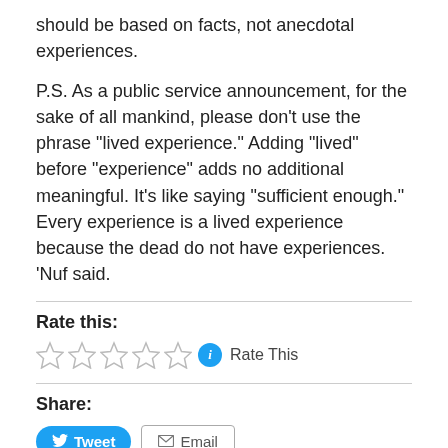should be based on facts, not anecdotal experiences.
P.S. As a public service announcement, for the sake of all mankind, please don’t use the phrase “lived experience.” Adding “lived” before “experience” adds no additional meaningful. It’s like saying “sufficient enough.” Every experience is a lived experience because the dead do not have experiences. ‘Nuf said.
Rate this:
[Figure (other): Five empty star rating icons followed by a blue info circle and the text 'Rate This']
Share:
[Figure (other): Tweet button (blue rounded) and Email button (outlined)]